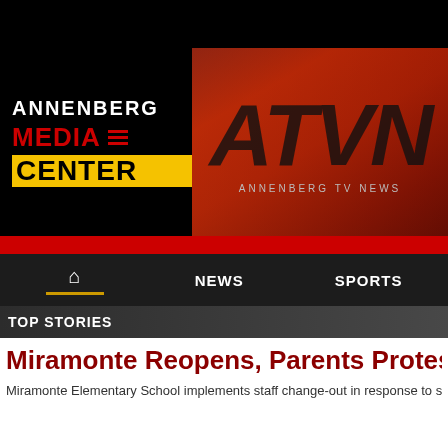[Figure (logo): Annenberg Media Center and ATVN (Annenberg TV News) header banner with logos on black and red gradient background]
TOP STORIES
Miramonte Reopens, Parents Protest N
Miramonte Elementary School implements staff change-out in response to stu